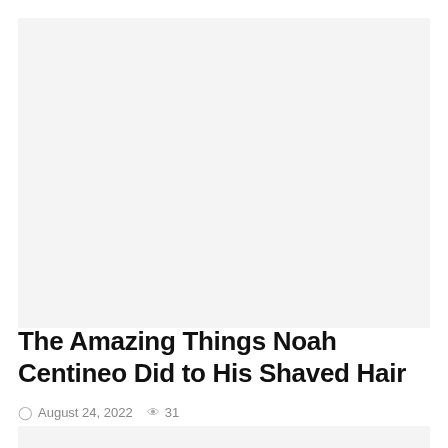[Figure (photo): Large image placeholder with light gray background, representing an article hero image]
ART
The Amazing Things Noah Centineo Did to His Shaved Hair
August 24, 2022  31